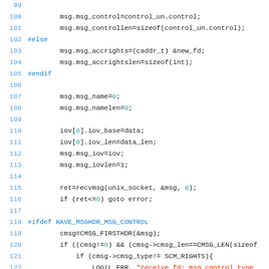[Figure (screenshot): Source code listing (C language) showing lines 99-127, with line numbers in blue on the left and code on the right. Lines include message control, iov setup, recvmsg call, and #ifdef HAVE_MSGHDR_MSG_CONTROL block.]